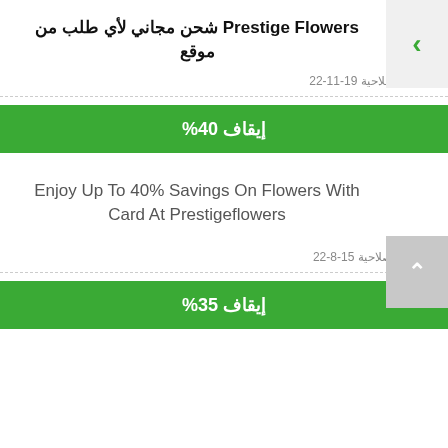Prestige Flowers شحن مجاني لأي طلب من موقع
تنتهي الصلاحية 19-11-22
إيقاف 40%
Enjoy Up To 40% Savings On Flowers With Card At Prestigeflowers
منتهية الصلاحية 15-8-22
إيقاف 35%